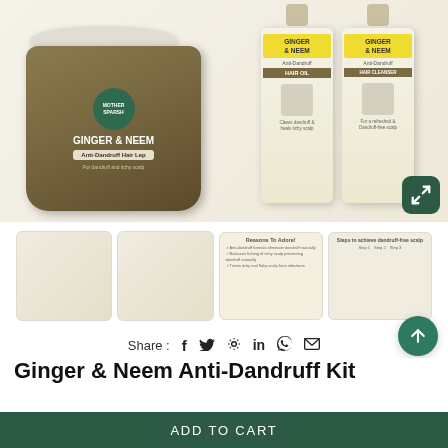[Figure (photo): Product photo of Mother Sparsh Ginger & Neem Anti-Dandruff Kit showing a jar of Anti-Dandruff Hair Lep and two bottles of Ginger & Neem Hair Oil and Hair Cleanser]
[Figure (photo): Four thumbnail images of the Ginger & Neem Anti-Dandruff Kit product]
Share : f  t  p  in  w  email
Ginger & Neem Anti-Dandruff Kit
In Stock
ADD TO CART